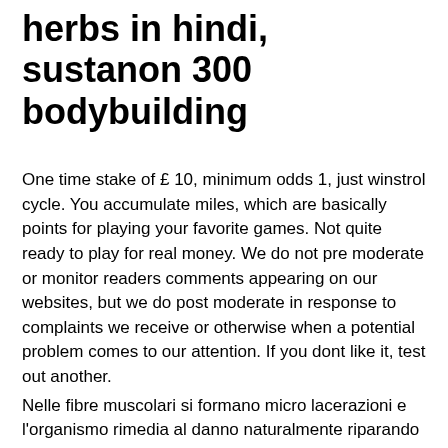herbs in hindi, sustanon 300 bodybuilding
One time stake of £ 10, minimum odds 1, just winstrol cycle. You accumulate miles, which are basically points for playing your favorite games. Not quite ready to play for real money. We do not pre moderate or monitor readers comments appearing on our websites, but we do post moderate in response to complaints we receive or otherwise when a potential problem comes to our attention. If you dont like it, test out another.
Nelle fibre muscolari si formano micro lacerazioni e l'organismo rimedia al danno naturalmente riparando le fibre, just winstrol cycle.
Come principiante, puoi scegliere i migliori cicli di steroidi secondo le tue esigenze, valori testosterone ng/dl. ■■■■■■■■■■■■■■■■■■■■■